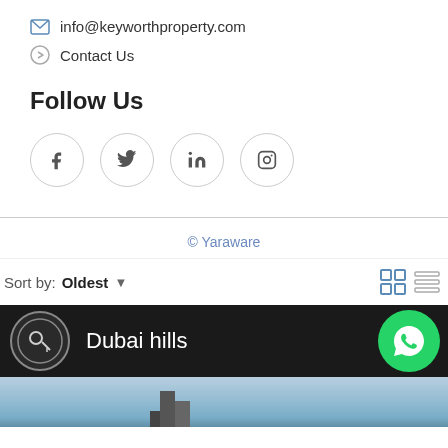info@keyworthproperty.com
Contact Us
Follow Us
[Figure (illustration): Four social media icon circles: Facebook (f), Twitter (bird), LinkedIn (in), Instagram (square camera)]
© Yaraware
Sort by: Oldest
[Figure (illustration): Dubai hills property listing bar with logo, WhatsApp button, and property preview image]